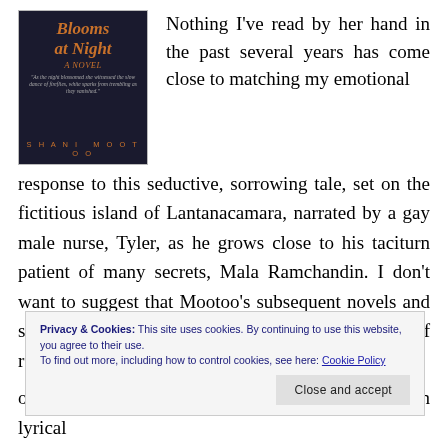[Figure (illustration): Book cover of 'Cereus Blooms at Night' by Shani Mootoo, dark background with orange/amber title text]
Nothing I've read by her hand in the past several years has come close to matching my emotional response to this seductive, sorrowing tale, set on the fictitious island of Lantanacamara, narrated by a gay male nurse, Tyler, as he grows close to his taciturn patient of many secrets, Mala Ramchandin. I don't want to suggest that Mootoo's subsequent novels and short fiction pieces (I've not yet had the pleasure of reading
Privacy & Cookies: This site uses cookies. By continuing to use this website, you agree to their use.
To find out more, including how to control cookies, see here: Cookie Policy
Close and accept
of lush magic, of the beautiful urgency wherein lyrical